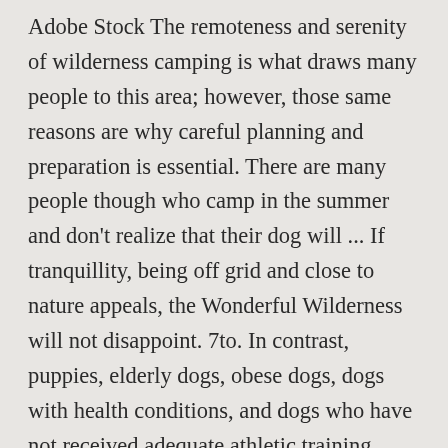Adobe Stock The remoteness and serenity of wilderness camping is what draws many people to this area; however, those same reasons are why careful planning and preparation is essential. There are many people though who camp in the summer and don't realize that their dog will ... If tranquillity, being off grid and close to nature appeals, the Wonderful Wilderness will not disappoint. 7to. In contrast, puppies, elderly dogs, obese dogs, dogs with health conditions, and dogs who have not received adequate athletic training beforehand won't. Their enthusiasm for the great outdoors may well out-distance your own — and you won't catch them complaining. So thing such as sausages, beef, and even some treats. I started